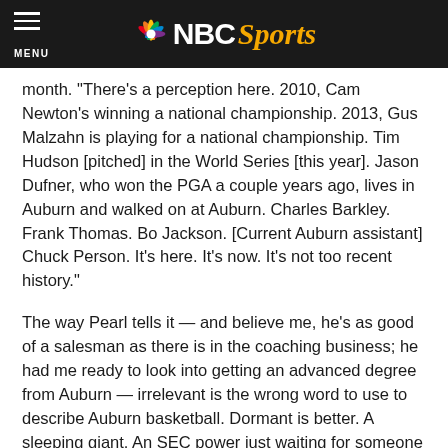NBC Sports
month. “There’s a perception here. 2010, Cam Newton’s winning a national championship. 2013, Gus Malzahn is playing for a national championship. Tim Hudson [pitched] in the World Series [this year]. Jason Dufner, who won the PGA a couple years ago, lives in Auburn and walked on at Auburn. Charles Barkley. Frank Thomas. Bo Jackson. [Current Auburn assistant] Chuck Person. It’s here. It’s now. It’s not too recent history.”
The way Pearl tells it — and believe me, he’s as good of a salesman as there is in the coaching business; he had me ready to look into getting an advanced degree from Auburn — irrelevant is the wrong word to use to describe Auburn basketball. Dormant is better. A sleeping giant. An SEC power just waiting for someone to tap into their potential. If anyone can do that, it’s Pearl.